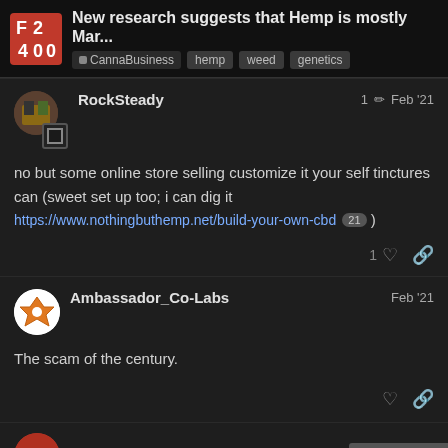New research suggests that Hemp is mostly Mar... | CannaBusiness | hemp | weed | genetics
no but some online store selling customize it your self tinctures can (sweet set up too; i can dig it https://www.nothingbuthemp.net/build-your-own-cbd 21 )
The scam of the century.
Demontrich
4 / 22